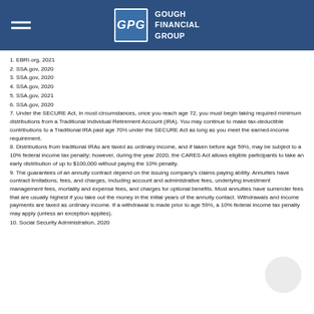Gough Financial Group
1. EBRI.org, 2021
2. SSA.gov, 2020
3. SSA.gov, 2020
4. SSA.gov, 2020
5. SSA.gov, 2021
6. SSA.gov, 2020
7. Under the SECURE Act, in most circumstances, once you reach age 72, you must begin taking required minimum distributions from a Traditional Individual Retirement Account (IRA). You may continue to make tax-deductible contributions to a Traditional IRA past age 70½ under the SECURE Act as long as you meet the earned-income requirement.
8. Distributions from traditional IRAs are taxed as ordinary income, and if taken before age 59½, may be subject to a 10% federal income tax penalty; however, during the year 2020, the CARES Act allows eligible participants to take an early distribution of up to $100,000 without paying the 10% penalty.
9. The guarantees of an annuity contract depend on the issuing company's claims-paying ability. Annuities have contract limitations, fees, and charges, including account and administrative fees, underlying investment management fees, mortality and expense fees, and charges for optional benefits. Most annuities have surrender fees that are usually highest if you take out the money in the initial years of the annuity contact. Withdrawals and income payments are taxed as ordinary income. If a withdrawal is made prior to age 59½, a 10% federal income tax penalty may apply (unless an exception applies).
10. Social Security Administration, 2020